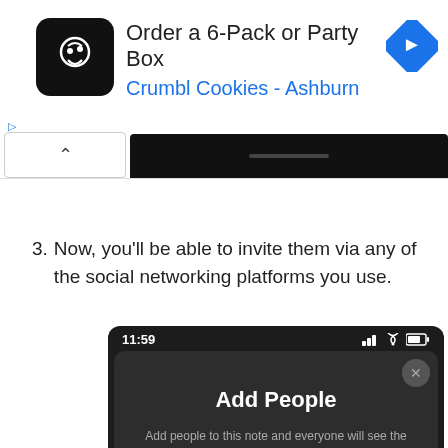[Figure (screenshot): Advertisement banner for Crumbl Cookies - Ashburn: Order a 6-Pack or Party Box, with app icon and navigation arrow]
[Figure (screenshot): Mobile app screenshot showing dark-themed 'Add People' modal dialog: 'Add people to this note and everyone will see the latest changes.' with a yellow button at the bottom, time 11:59, status bar icons visible]
3. Now, you'll be able to invite them via any of the social networking platforms you use.